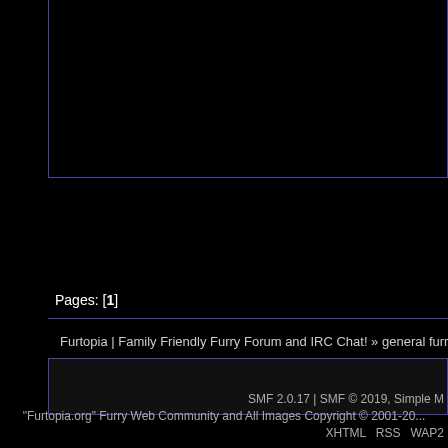ranges of color. What is that ability used for, or are there advantages? Does the reduced color range allow for faster recog...
Does this visual ability/disability of your fu... hereditary reason? Was it engineered? Is there something your fursona can see t...
« Last Edit: March 03, 2021, 09:36:38 pm by Jad...
Bear your soul and take control
If the wolves are howling outside your door
Invite them in and make them beg for more!
(Name that tune!)
Pages: [1]
Furtopia | Family Friendly Furry Forum and IRC Chat! » general furry discussion » gene...
SMF 2.0.17 | SMF © 2019, Simple M...
"Furtopia.org" Furry Web Community and All Images Copyright © 2001-20...
XHTML   RSS   WAP2